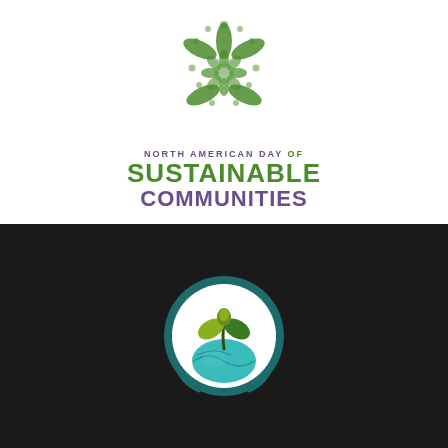[Figure (logo): North American Day of Sustainable Communities logo: green mandala/flower graphic above bold green and purple text reading 'NORTH AMERICAN DAY OF SUSTAINABLE COMMUNITIES' on white background]
[Figure (logo): Circular icon with teal/dark teal border on black background: white circle containing a teal globe at bottom with a green sprouting plant/seedling with two leaves growing from it]